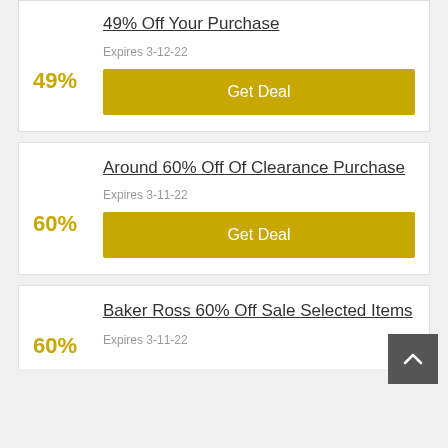49% Off Your Purchase
49%
Expires 3-12-22
Get Deal
Around 60% Off Of Clearance Purchase
60%
Expires 3-11-22
Get Deal
Baker Ross 60% Off Sale Selected Items
60%
Expires 3-11-22